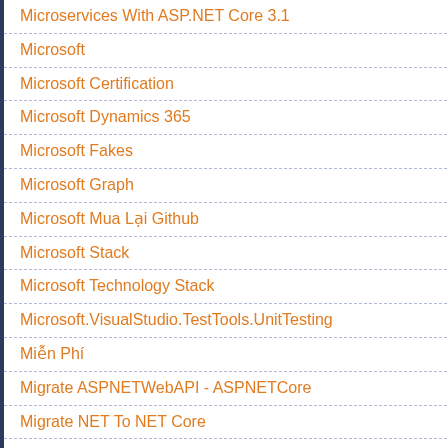Microservices With ASP.NET Core 3.1
Microsoft
Microsoft Certification
Microsoft Dynamics 365
Microsoft Fakes
Microsoft Graph
Microsoft Mua Lại Github
Microsoft Stack
Microsoft Technology Stack
Microsoft.VisualStudio.TestTools.UnitTesting
Miễn Phí
Migrate ASPNETWebAPI - ASPNETCore
Migrate NET To NET Core
Migration
Migration To ASP.NET Core In .NET 6